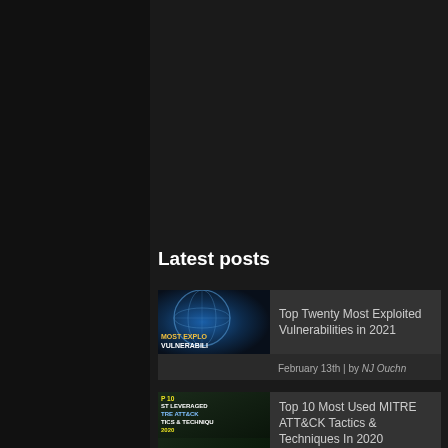Latest posts
[Figure (screenshot): Blog post card showing 'Top Twenty Most Exploited Vulnerabilities in 2021' with a blue globe thumbnail image and text 'MOST EXPLOITED VULNERABILITIES']
Top Twenty Most Exploited Vulnerabilities in 2021
February 13th | by NJ Ouchn
[Figure (screenshot): Blog post card showing 'Top 10 Most Used MITRE ATT&CK Tactics & Techniques In 2020' with a dark green thumbnail image]
Top 10 Most Used MITRE ATT&CK Tactics & Techniques In 2020
February 11th | by NJ Ouchn